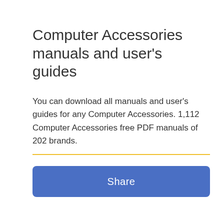Computer Accessories manuals and user's guides
You can download all manuals and user's guides for any Computer Accessories. 1,112 Computer Accessories free PDF manuals of 202 brands.
[Figure (other): Horizontal yellow divider line]
Share